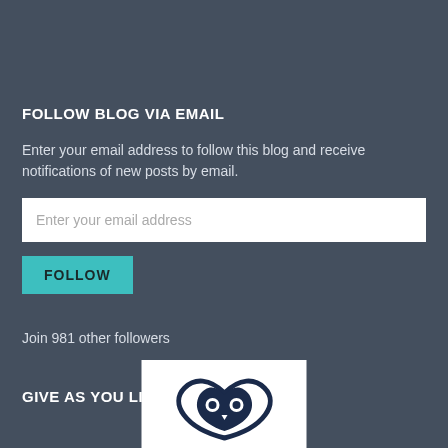FOLLOW BLOG VIA EMAIL
Enter your email address to follow this blog and receive notifications of new posts by email.
Enter your email address
FOLLOW
Join 981 other followers
GIVE AS YOU LIVE
[Figure (logo): Give As You Live logo showing a heart/owl shape in dark navy blue on white background, partially visible at bottom of page]